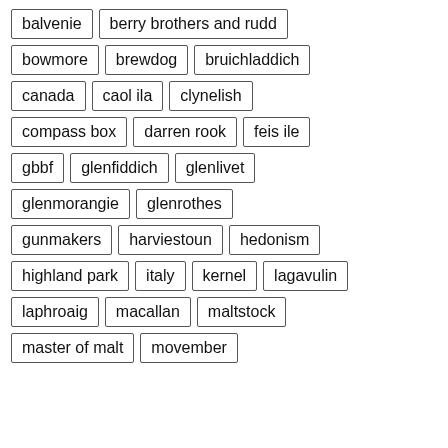balvenie
berry brothers and rudd
bowmore
brewdog
bruichladdich
canada
caol ila
clynelish
compass box
darren rook
feis ile
gbbf
glenfiddich
glenlivet
glenmorangie
glenrothes
gunmakers
harviestoun
hedonism
highland park
italy
kernel
lagavulin
laphroaig
macallan
maltstock
master of malt
movember